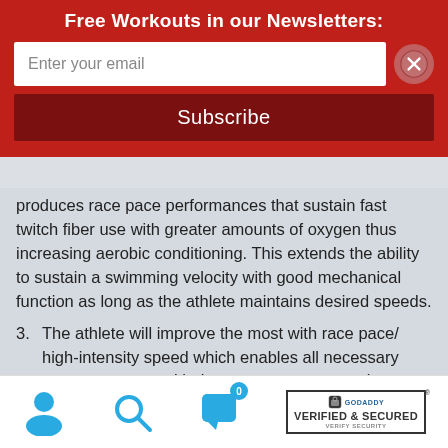Free Workouts in our Newsletters:
produces race pace performances that sustain fast twitch fiber use with greater amounts of oxygen thus increasing aerobic conditioning. This extends the ability to sustain a swimming velocity with good mechanical function as long as the athlete maintains desired speeds.
3. The athlete will improve the most with race pace/ high-intensity speed which enables all necessary energy systems with the proper neuromuscular patterns
[Figure (other): Website footer bar with user icon, search icon, notification icon with count 0, and GoDaddy Verified & Secured badge]